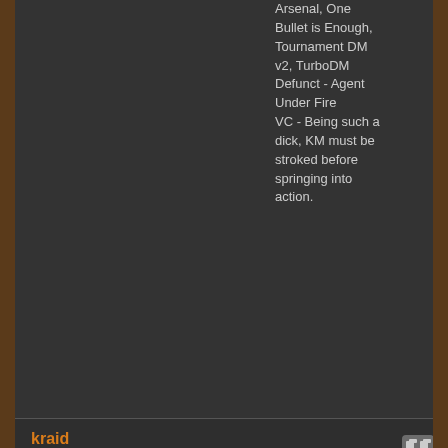Arsenal, One Bullet is Enough, Tournament DM v2, TurboDM Defunct - Agent Under Fire
VC - Being such a dick, KM must be stroked before springing into action.
kraid
Game Artist
007
Posts: 1,981
Reputation Power: 170
Offline
[Figure (photo): Avatar image of an angry bald man screaming, black and white manga/comic style artwork]
Re: New Years Community Map Pack 2015
« Reply #10 on: January 23, 2015, 02:20:06 am »